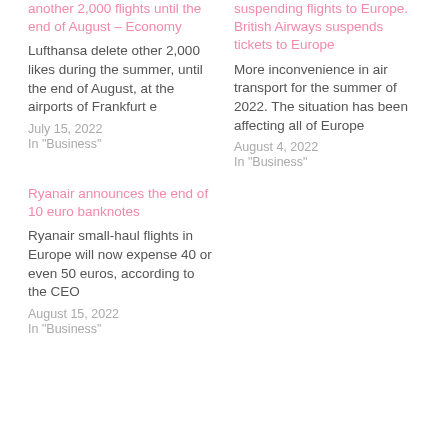another 2,000 flights until the end of August – Economy
Lufthansa delete other 2,000 likes during the summer, until the end of August, at the airports of Frankfurt e
July 15, 2022
In "Business"
Ryanair announces the end of 10 euro banknotes
Ryanair small-haul flights in Europe will now expense 40 or even 50 euros, according to the CEO
August 15, 2022
In "Business"
suspending flights to Europe. British Airways suspends tickets to Europe
More inconvenience in air transport for the summer of 2022. The situation has been affecting all of Europe
August 4, 2022
In "Business"